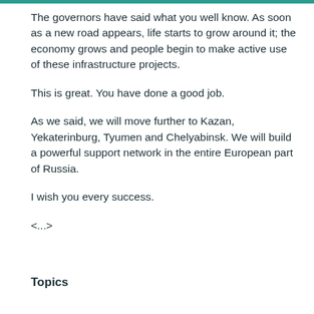The governors have said what you well know. As soon as a new road appears, life starts to grow around it; the economy grows and people begin to make active use of these infrastructure projects.
This is great. You have done a good job.
As we said, we will move further to Kazan, Yekaterinburg, Tyumen and Chelyabinsk. We will build a powerful support network in the entire European part of Russia.
I wish you every success.
<...>
Topics